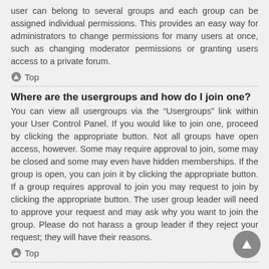user can belong to several groups and each group can be assigned individual permissions. This provides an easy way for administrators to change permissions for many users at once, such as changing moderator permissions or granting users access to a private forum.
^ Top
Where are the usergroups and how do I join one?
You can view all usergroups via the “Usergroups” link within your User Control Panel. If you would like to join one, proceed by clicking the appropriate button. Not all groups have open access, however. Some may require approval to join, some may be closed and some may even have hidden memberships. If the group is open, you can join it by clicking the appropriate button. If a group requires approval to join you may request to join by clicking the appropriate button. The user group leader will need to approve your request and may ask why you want to join the group. Please do not harass a group leader if they reject your request; they will have their reasons.
^ Top
How do I become a usergroup leader?